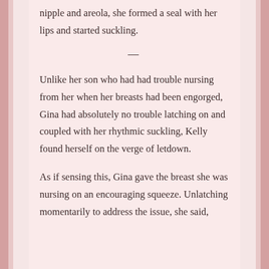nipple and areola, she formed a seal with her lips and started suckling.
Unlike her son who had had trouble nursing from her when her breasts had been engorged, Gina had absolutely no trouble latching on and coupled with her rhythmic suckling, Kelly found herself on the verge of letdown.
As if sensing this, Gina gave the breast she was nursing on an encouraging squeeze. Unlatching momentarily to address the issue, she said,